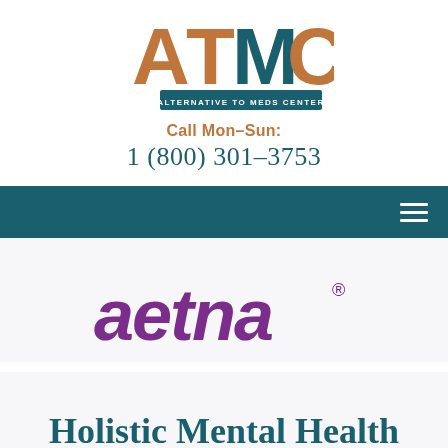[Figure (logo): ATMC Alternative to Meds Center logo with stylized letter marks in rust/orange and teal]
Call Mon–Sun:
1 (800) 301–3753
[Figure (logo): Aetna insurance logo in purple with registered trademark symbol]
Holistic Mental Health